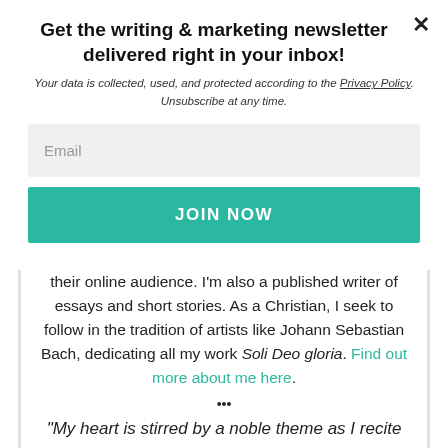Get the writing & marketing newsletter delivered right in your inbox!
Your data is collected, used, and protected according to the Privacy Policy. Unsubscribe at any time.
Email
JOIN NOW
their online audience. I'm also a published writer of essays and short stories. As a Christian, I seek to follow in the tradition of artists like Johann Sebastian Bach, dedicating all my work Soli Deo gloria. Find out more about me here.
•••
“My heart is stirred by a noble theme as I recite my verses for the king; my tongue is the pen of a skillful writer.”